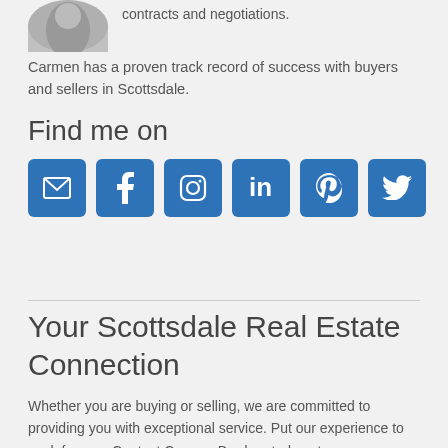[Figure (photo): Partial circular photo of person at top left]
contracts and negotiations.
Carmen has a proven track record of success with buyers and sellers in Scottsdale.
Find me on
[Figure (infographic): Six social media icon buttons: email, Facebook, Instagram, LinkedIn, Pinterest, Twitter]
Your Scottsdale Real Estate Connection
Whether you are buying or selling, we are committed to providing you with exceptional service. Put our experience to work for you. Contact Carmen Brodeur today at Carmen@TopScottsdaleHomes.com